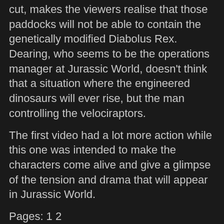cut, makes the viewers realise that those paddocks will not be able to contain the genetically modified Diabolus Rex. Dearing, who seems to be the operations manager at Jurassic World, doesn't think that a situation where the engineered dinosaurs will ever rise, but the man controlling the velociraptors.
The first video had a lot more action while this one was intended to make the characters come alive and give a glimpse of the tension and drama that will appear in Jurassic World.
Pages: 1 2
< Dota 2, CS: GO's Increasing Popularity and the Former's Cycle of Potential!
> Fallout 4 Teased by Three Dog Voice Actor, Fans Expect the Title at E3 2015!